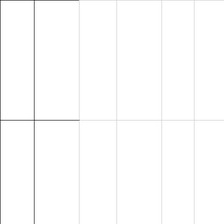|  | Name | Score | Coins | Time | Rating |
| --- | --- | --- | --- | --- | --- |
|  |  |  |  |  |  |
|  | Lava Jump | 160 | 3,488 | 5s | 32.00 |
|  |  |  |  |  |  |